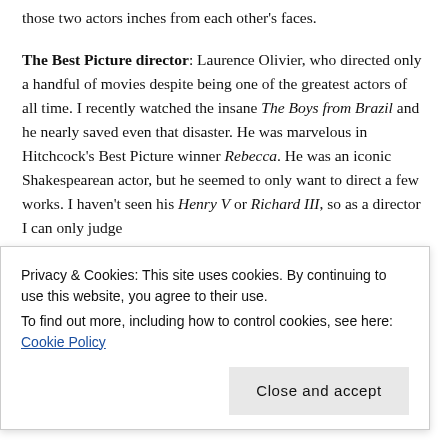those two actors inches from each other's faces.
The Best Picture director: Laurence Olivier, who directed only a handful of movies despite being one of the greatest actors of all time. I recently watched the insane The Boys from Brazil and he nearly saved even that disaster. He was marvelous in Hitchcock's Best Picture winner Rebecca. He was an iconic Shakespearean actor, but he seemed to only want to direct a few works. I haven't seen his Henry V or Richard III, so as a director I can only judge
Privacy & Cookies: This site uses cookies. By continuing to use this website, you agree to their use.
To find out more, including how to control cookies, see here: Cookie Policy